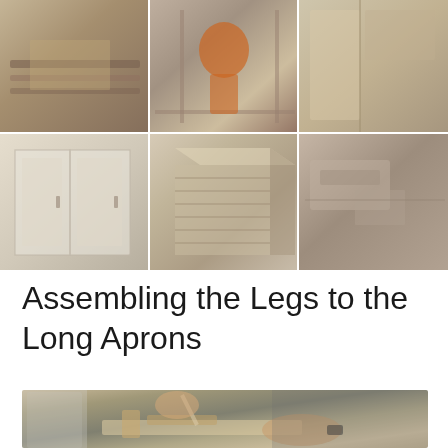[Figure (photo): Collage of six woodworking project photos: top row shows a router/rail setup, a shop vacuum in a wooden cart frame, and a corner cabinet joint detail; bottom row shows a white cabinet with doors, a 3D model of a drawer chest, and a router table or tool machinery setup.]
Assembling the Legs to the Long Aprons
[Figure (photo): A person in a gray t-shirt applying glue or finish to wooden workbench leg assembly components on a workbench, with various tools and shop clutter visible in the background.]